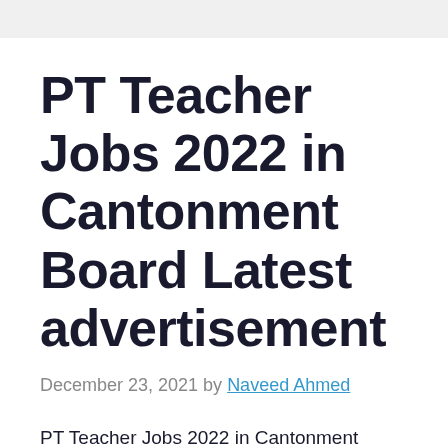PT Teacher Jobs 2022 in Cantonment Board Latest advertisement
December 23, 2021 by Naveed Ahmed
PT Teacher Jobs 2022 in Cantonment Board